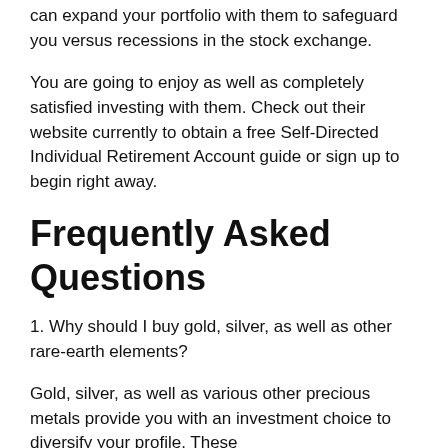can expand your portfolio with them to safeguard you versus recessions in the stock exchange.
You are going to enjoy as well as completely satisfied investing with them. Check out their website currently to obtain a free Self-Directed Individual Retirement Account guide or sign up to begin right away.
Frequently Asked Questions
1. Why should I buy gold, silver, as well as other rare-earth elements?
Gold, silver, as well as various other precious metals provide you with an investment choice to diversify your profile. These